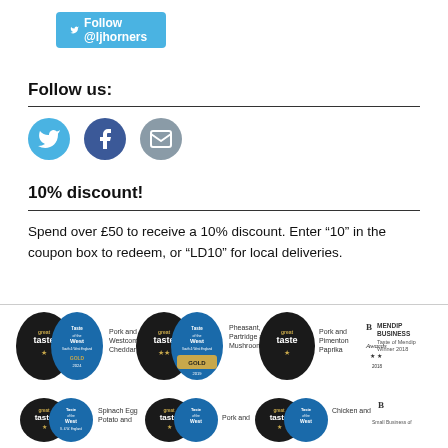[Figure (other): Twitter Follow @ljhorners button in blue]
Follow us:
[Figure (other): Three social media icons: Twitter (light blue circle), Facebook (dark blue circle), Email/envelope (grey circle)]
10% discount!
Spend over £50 to receive a 10% discount. Enter “10” in the coupon box to redeem, or “LD10” for local deliveries.
[Figure (other): Row of award badges: Great Taste stars for Pork and Westcombe Cheddar; Taste of the West Gold 2024 for Pheasant, Partridge and Mushroom; Taste of the West Gold 2019 for Pork and Smoked Chilli; Great Taste star for Pork and Pimenton Paprika; Mendip Business Awards Taste of Mendip Winner 2018. Second row shows more Great Taste and Taste of the West awards for Spinach Egg Potato and other products, plus another Mendip business award.]